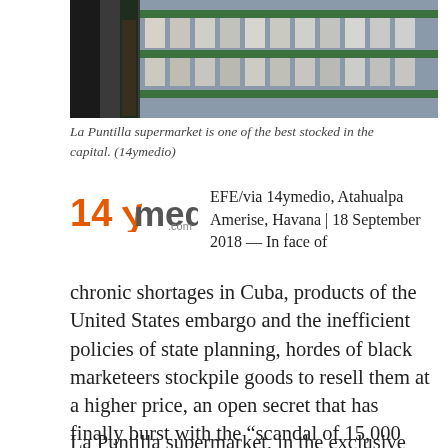[Figure (photo): Interior of La Puntilla supermarket showing shelves stocked with products, a person visible in the background]
La Puntilla supermarket is one of the best stocked in the capital. (14ymedio)
[Figure (logo): 14ymedio.com logo with orange 14y and grey medio text]
EFE/via 14ymedio, Atahualpa Amerise, Havana | 18 September 2018 — In face of chronic shortages in Cuba, products of the United States embargo and the inefficient policies of state planning, hordes of black marketeers stockpile goods to resell them at a higher price, an open secret that has finally burst with the “scandal of 15,000 apples.”
La Puntilla supermarket, in the exclusive